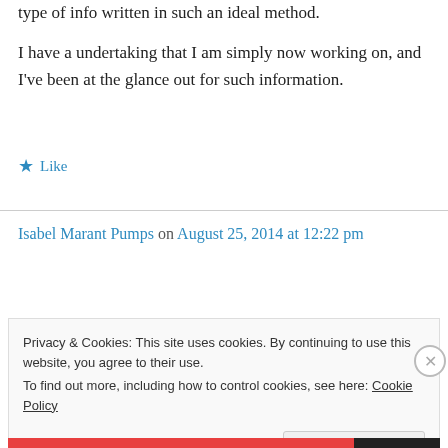type of info written in such an ideal method.
I have a undertaking that I am simply now working on, and I've been at the glance out for such information.
★ Like
Isabel Marant Pumps on August 25, 2014 at 12:22 pm
Privacy & Cookies: This site uses cookies. By continuing to use this website, you agree to their use.
To find out more, including how to control cookies, see here: Cookie Policy
Close and accept